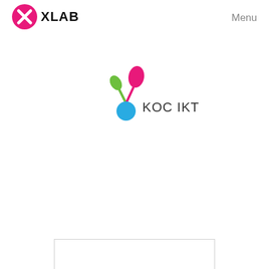[Figure (logo): XLAB logo: pink/magenta oval with white X shape inside, followed by bold black text XLAB]
Menu
[Figure (logo): KOC IKT logo: colorful droplet/molecule shapes in green, pink and blue, with dark text KOC IKT to the right]
[Figure (other): White rectangle with thin gray border at bottom of page, partially visible]